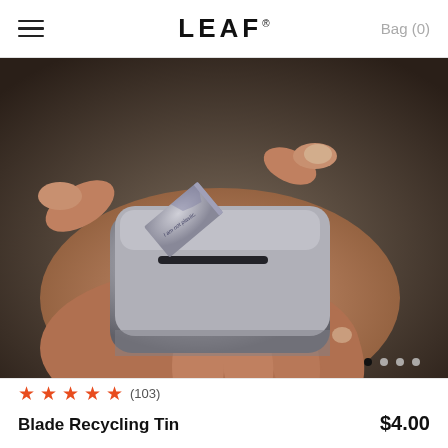≡  LEAF®  Bag (0)
[Figure (photo): A hand holding a small rectangular silver metal blade recycling tin, with a razor blade (engraved with 'I am not plastic.') being inserted into the slot on top. Dark background.]
★★★★★ (103)
Blade Recycling Tin   $4.00